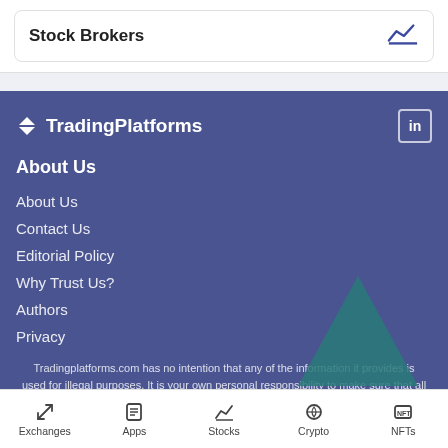Stock Brokers
[Figure (logo): TradingPlatforms logo with arrow icon]
About Us
About Us
Contact Us
Editorial Policy
Why Trust Us?
Authors
Privacy
Tradingplatforms.com has no intention that any of the information it provides is used for illegal purposes. It is your own personal responsibility to make sure that all age and other relevant requirements are adhered to before registering with a betting operator. By continuing to use this
Exchanges  Apps  Stocks  Crypto  NFTs